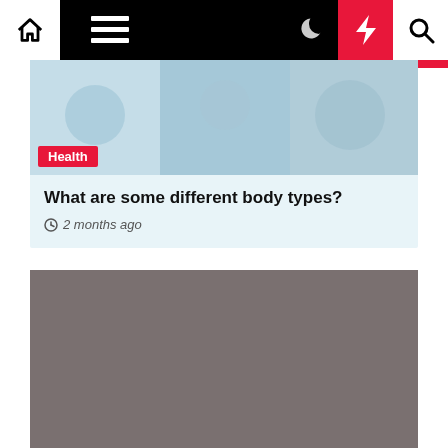Navigation bar with home, menu, moon, bolt, and search icons
[Figure (screenshot): Health article card showing body types thumbnail image with a light blue background]
Health
What are some different body types?
2 months ago
[Figure (screenshot): Medicine article card with a gray placeholder image]
Medicine
Was the medicine worse than the disease?